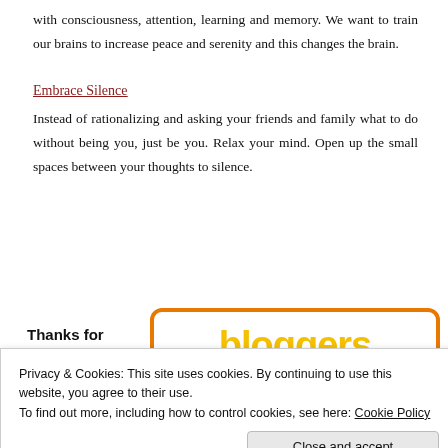with consciousness, attention, learning and memory. We want to train our brains to increase peace and serenity and this changes the brain.
Embrace Silence
Instead of rationalizing and asking your friends and family what to do without being you, just be you. Relax your mind. Open up the small spaces between your thoughts to silence.
Thanks for visiting
[Figure (logo): Bloggers logo badge with orange border and yellow text on white background]
Privacy & Cookies: This site uses cookies. By continuing to use this website, you agree to their use.
To find out more, including how to control cookies, see here: Cookie Policy
Close and accept